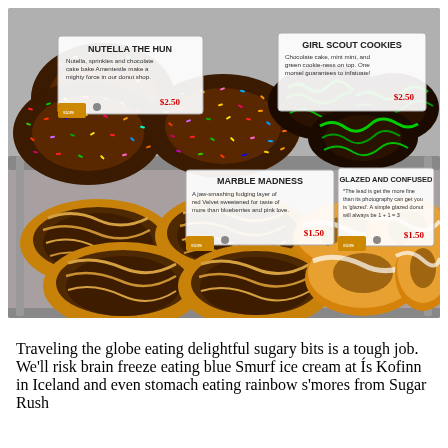[Figure (photo): A bakery display case showing four varieties of donuts on two shelves. Top shelf left: 'Nutella the Hun' donuts covered in colorful sprinkles, priced at $2.50. Top shelf right: 'Girl Scout Cookies' donuts with green icing, priced at $2.50. Bottom shelf left: 'Marble Madness' donuts with chocolate glaze and drizzle, priced at $1.50. Bottom shelf right: 'Glazed and Confused' plain glazed ring donuts with white stripe, priced at $1.50.]
Traveling the globe eating delightful sugary bits is a tough job. We'll risk brain freeze eating blue Smurf ice cream at Ís Kofinn in Iceland and even stomach eating rainbow s'mores from Sugar Rush